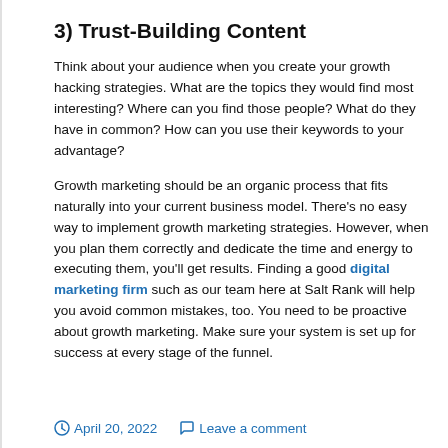3) Trust-Building Content
Think about your audience when you create your growth hacking strategies. What are the topics they would find most interesting? Where can you find those people? What do they have in common? How can you use their keywords to your advantage?
Growth marketing should be an organic process that fits naturally into your current business model. There's no easy way to implement growth marketing strategies. However, when you plan them correctly and dedicate the time and energy to executing them, you'll get results. Finding a good digital marketing firm such as our team here at Salt Rank will help you avoid common mistakes, too. You need to be proactive about growth marketing. Make sure your system is set up for success at every stage of the funnel.
April 20, 2022   Leave a comment